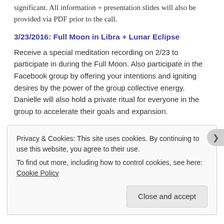significant. All information + presentation slides will also be provided via PDF prior to the call.
3/23/2016: Full Moon in Libra + Lunar Eclipse
Receive a special meditation recording on 2/23 to participate in during the Full Moon. Also participate in the Facebook group by offering your intentions and igniting desires by the power of the group collective energy. Danielle will also hold a private ritual for everyone in the group to accelerate their goals and expansion.
3/29/2016, 8:30PM EST: Call #2
Privacy & Cookies: This site uses cookies. By continuing to use this website, you agree to their use.
To find out more, including how to control cookies, see here: Cookie Policy